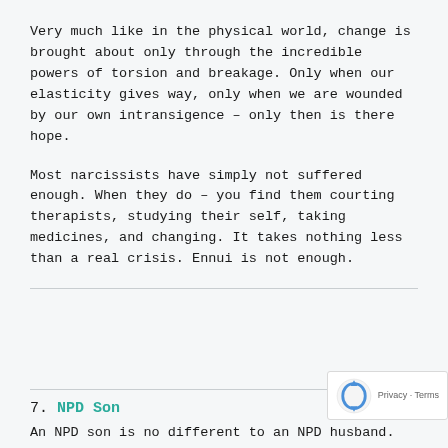Very much like in the physical world, change is brought about only through the incredible powers of torsion and breakage. Only when our elasticity gives way, only when we are wounded by our own intransigence – only then is there hope.
Most narcissists have simply not suffered enough. When they do – you find them courting therapists, studying their self, taking medicines, and changing. It takes nothing less than a real crisis. Ennui is not enough.
7. NPD Son
An NPD son is no different to an NPD husband. You MUST devise and design survival strategies. Try to him and his friends, for his ideas and become an right t